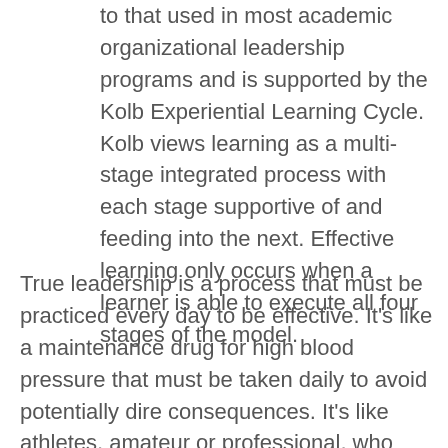to that used in most academic organizational leadership programs and is supported by the Kolb Experiential Learning Cycle. Kolb views learning as a multi-stage integrated process with each stage supportive of and feeding into the next. Effective learning only occurs when a learner is able to execute all four stages of the model.
True leadership is a process that must be practiced every day to be effective. It's like a maintenance drug for high blood pressure that must be taken daily to avoid potentially dire consequences. It's like athletes, amateur or professional, who continually works hard to improve their already exceptional abilities in order to become better and more competitive. It